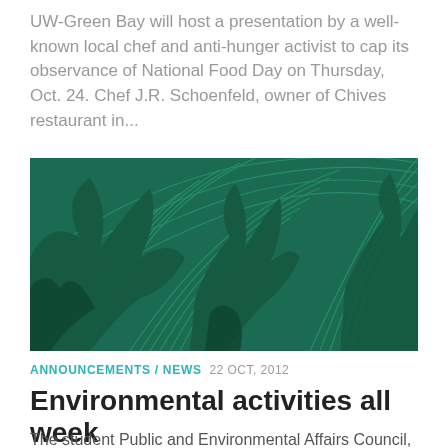UW-Green Bay will host a presentation by a well-known local chef and anti-hunger activist to cap its observance of National Food Day on Thursday, Oct. 24. Chef J.R. Schoenfeld, owner of Chives restaurant in...
[Figure (illustration): Decorative green illustration showing abstract phoenix or bird shapes with concentric arc line patterns on a dark teal/green background]
ANNOUNCEMENTS / NEWS  22 OCT, 2012
Environmental activities all week
The student Public and Environmental Affairs Council,